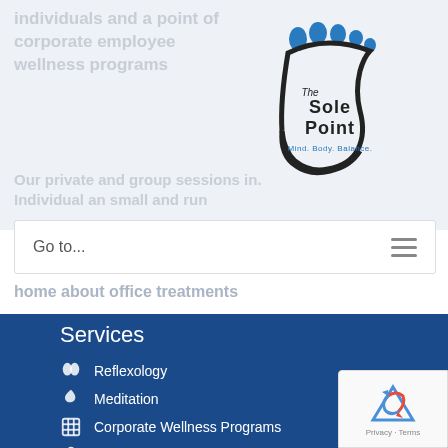individuals and a point of corporate employee wellness programs
[Figure (logo): The Sole Point logo — a stylized foot with toes and a curved arch, with text 'The Sole Point Mind. Body. Balance.']
Our private and group sessions in. Individual an small and run
Go to...
home about office treatments
Services
Reflexology
Meditation
Corporate Wellness Programs
Private Treatments